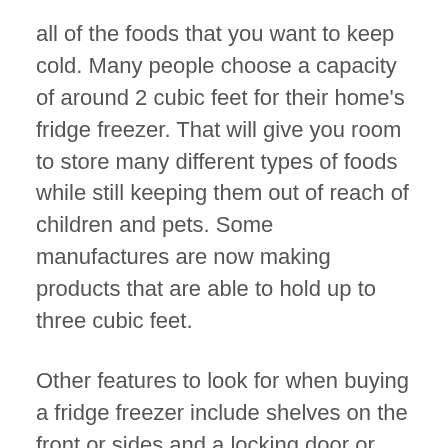all of the foods that you want to keep cold. Many people choose a capacity of around 2 cubic feet for their home's fridge freezer. That will give you room to store many different types of foods while still keeping them out of reach of children and pets. Some manufactures are now making products that are able to hold up to three cubic feet.
Other features to look for when buying a fridge freezer include shelves on the front or sides and a locking door or handle. The locking feature is very important if you have small children in your home that might access the contents of your freezer. Most of the newer models of fridge freezers will also have multiple plug outlets, which will allow you to plug in an additional appliance such as a toaster if so desired. Some manufacturers are even making products that are energy efficient. Look for one that...